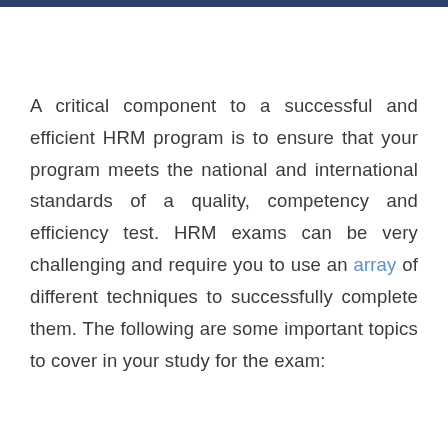A critical component to a successful and efficient HRM program is to ensure that your program meets the national and international standards of a quality, competency and efficiency test. HRM exams can be very challenging and require you to use an array of different techniques to successfully complete them. The following are some important topics to cover in your study for the exam: